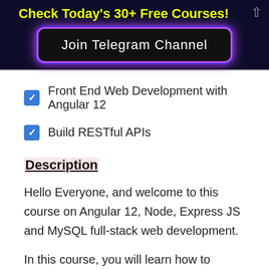Check Today's 30+ Free Courses!
[Figure (other): Join Telegram Channel button with glowing purple/blue border on dark background]
Front End Web Development with Angular 12
Build RESTful APIs
Description
Hello Everyone, and welcome to this course on Angular 12, Node, Express JS and MySQL full-stack web development.
In this course, you will learn how to develop a web application from scratch using popular technologies such